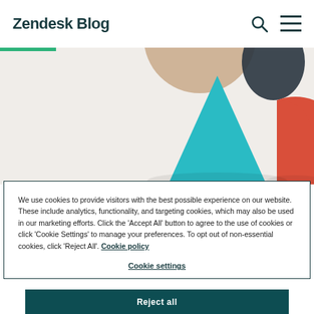Zendesk Blog
[Figure (photo): Colorful geometric wooden blocks including a teal triangle, red half-circle, and beige sphere on a light background, with a green line accent below the header.]
We use cookies to provide visitors with the best possible experience on our website. These include analytics, functionality, and targeting cookies, which may also be used in our marketing efforts. Click the 'Accept All' button to agree to the use of cookies or click 'Cookie Settings' to manage your preferences. To opt out of non-essential cookies, click 'Reject All'. Cookie policy
Cookie settings
Reject all